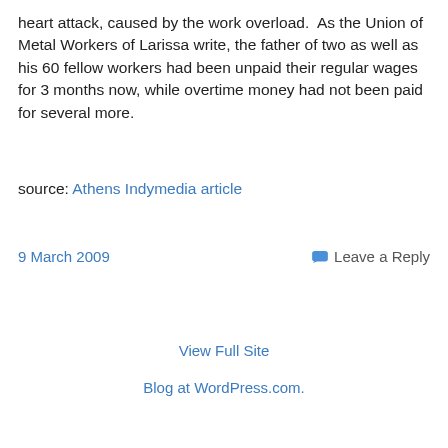heart attack, caused by the work overload.  As the Union of Metal Workers of Larissa write, the father of two as well as his 60 fellow workers had been unpaid their regular wages for 3 months now, while overtime money had not been paid for several more.
source: Athens Indymedia article
9 March 2009
Leave a Reply
View Full Site
Blog at WordPress.com.